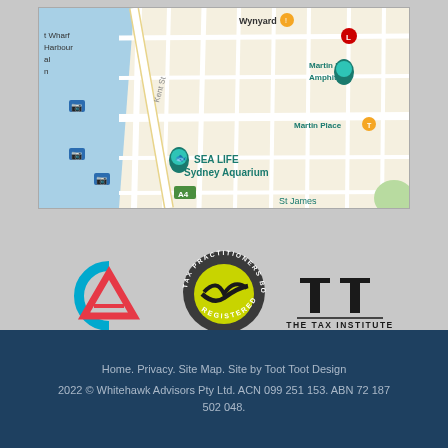[Figure (map): Google Maps screenshot showing Sydney CBD area including SEA LIFE Sydney Aquarium, Martin Place, Wynyard, and surrounding streets]
[Figure (logo): Chartered Accountants Australia + New Zealand logo]
[Figure (logo): Tax Practitioners Board Registered - Tax agent 25449004 circular logo]
[Figure (logo): The Tax Institute - Chartered Tax Adviser logo]
Home. Privacy. Site Map. Site by Toot Toot Design. 2022 © Whitehawk Advisors Pty Ltd. ACN 099 251 153. ABN 72 187 502 048.